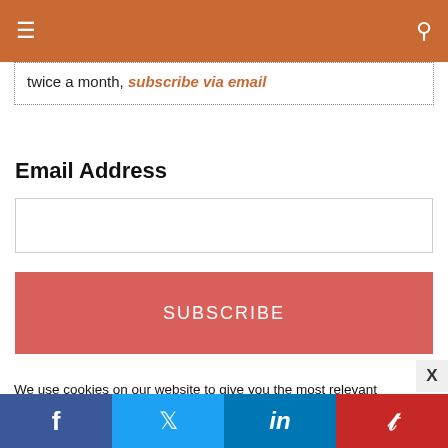Navigation bar with menu and search icons
twice a month, subscribe via email
Email Address
[Email input field]
SUBSCRIBE
We use cookies on our website to give you the most relevant experience by remembering your preferences and repeat visits. By clicking “Accept”, you consent to the use of ALL the cookies. Do not sell my personal information.
Facebook  Twitter  LinkedIn  Pinterest